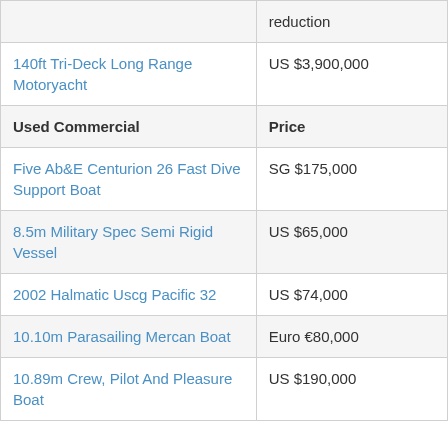|  | reduction |
| --- | --- |
| 140ft Tri-Deck Long Range Motoryacht | US $3,900,000 |
| Used Commercial | Price |
| Five Ab&E Centurion 26 Fast Dive Support Boat | SG $175,000 |
| 8.5m Military Spec Semi Rigid Vessel | US $65,000 |
| 2002 Halmatic Uscg Pacific 32 | US $74,000 |
| 10.10m Parasailing Mercan Boat | Euro €80,000 |
| 10.89m Crew, Pilot And Pleasure Boat | US $190,000 |